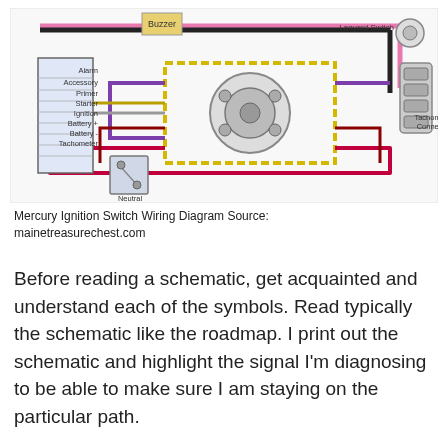[Figure (schematic): Mercury Ignition Switch Wiring Diagram showing a color-coded wiring schematic with labeled components including Buzzer, Alarm, Accessory, Primer, Starter, Ignition, Battery+, Battery-, Tachometer, Neutral Safety Switch, Lanyard Switch, and Tachometer Connector. Multiple colored wires (pink, black, yellow, purple, red, dark red) connect the ignition switch to various components.]
Mercury Ignition Switch Wiring Diagram Source: mainetreasurechest.com
Before reading a schematic, get acquainted and understand each of the symbols. Read typically the schematic like the roadmap. I print out the schematic and highlight the signal I'm diagnosing to be able to make sure I am staying on the particular path.